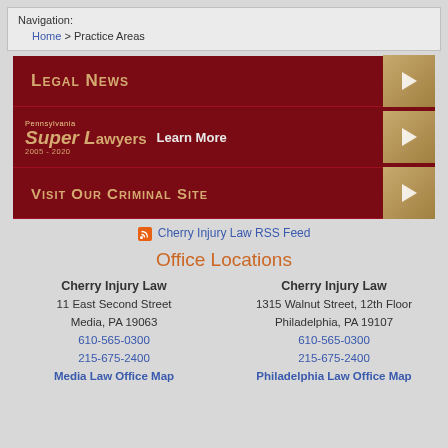Navigation: Home > Practice Areas
[Figure (screenshot): Legal News banner with dark red background and gold text]
[Figure (screenshot): Pennsylvania Super Lawyers 2005-2020 banner with Learn More text]
[Figure (screenshot): Visit Our Criminal Site banner with dark red background and gold text]
Cherry Injury Law RSS Feed
Office Locations
Cherry Injury Law
11 East Second Street
Media, PA 19063
610-565-0300
215-675-2400
Media Law Office Map
Cherry Injury Law
1315 Walnut Street, 12th Floor
Philadelphia, PA 19107
610-565-0300
215-675-2400
Philadelphia Law Office Map